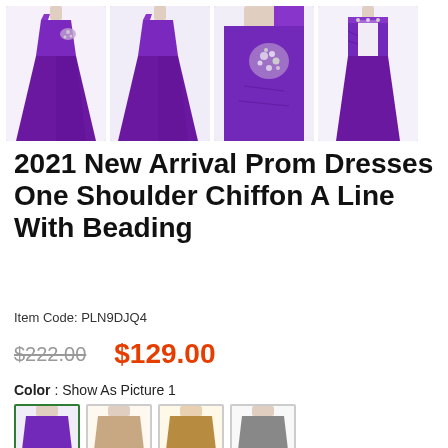[Figure (photo): Four thumbnail images of a purple one-shoulder chiffon prom dress, showing full length and detail views on mannequins. A black underline appears below the first thumbnail.]
2021 New Arrival Prom Dresses One Shoulder Chiffon A Line With Beading
Item Code: PLN9DJQ4
$222.00  $129.00
Color : Show As Picture 1
[Figure (photo): Four color swatch thumbnail images of the dress in different colors: purple (selected, green border), beige/nude, tan/champagne, and gray.]